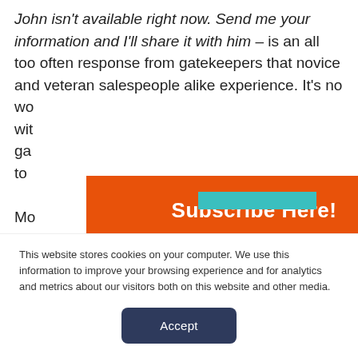John isn't available right now. Send me your information and I'll share it with him – is an all too often response from gatekeepers that novice and veteran salespeople alike experience. It's no wo... wit... ga... to... Mo...
[Figure (screenshot): Orange subscribe popup overlay with title 'Subscribe Here!' and email input field 'Enter your email to subscribe.*' with a partially visible teal button at the bottom]
This website stores cookies on your computer. We use this information to improve your browsing experience and for analytics and metrics about our visitors both on this website and other media.
[Figure (other): Dark navy blue Accept button]